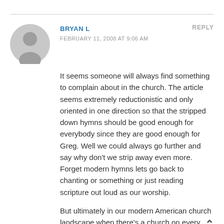BRYAN L
FEBRUARY 11, 2008 AT 9:06 AM
REPLY
It seems someone will always find something to complain about in the church. The article seems extremely reductionistic and only oriented in one direction so that the stripped down hymns should be good enough for everybody since they are good enough for Greg. Well we could always go further and say why don’t we strip away even more. Forget modern hymns lets go back to chanting or something or just reading scripture out loud as our worship.
But ultimately in our modern American church landscape when there’s a church on every